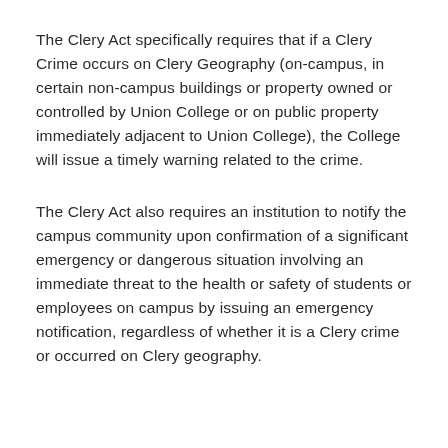The Clery Act specifically requires that if a Clery Crime occurs on Clery Geography (on-campus, in certain non-campus buildings or property owned or controlled by Union College or on public property immediately adjacent to Union College), the College will issue a timely warning related to the crime.
The Clery Act also requires an institution to notify the campus community upon confirmation of a significant emergency or dangerous situation involving an immediate threat to the health or safety of students or employees on campus by issuing an emergency notification, regardless of whether it is a Clery crime or occurred on Clery geography.